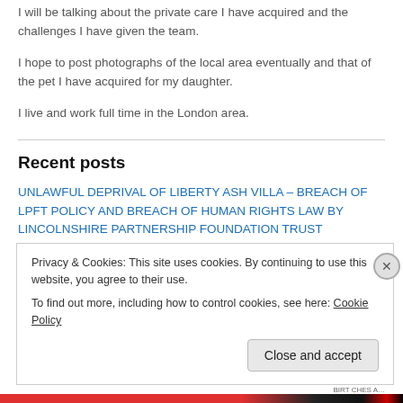I will be talking about the private care I have acquired and the challenges I have given the team.
I hope to post photographs of the local area eventually and that of the pet I have acquired for my daughter.
I live and work full time in the London area.
Recent posts
UNLAWFUL DEPRIVAL OF LIBERTY ASH VILLA – BREACH OF LPFT POLICY AND BREACH OF HUMAN RIGHTS LAW BY LINCOLNSHIRE PARTNERSHIP FOUNDATION TRUST
Privacy & Cookies: This site uses cookies. By continuing to use this website, you agree to their use.
To find out more, including how to control cookies, see here: Cookie Policy